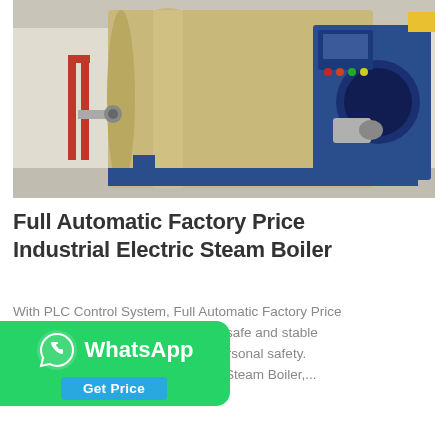[Figure (photo): Industrial electric steam boiler with blue front panel, motor, control interface with buttons and display, mounted on metal base in a factory/warehouse setting with visible piping and equipment]
Full Automatic Factory Price Industrial Electric Steam Boiler
With PLC Control System, Full Automatic Factory Price Industrial Electric Steam Boiler can safe and stable sure operating personal safety. Boiler Tags: Electric Steam Boiler,...
[Figure (logo): WhatsApp banner with green background, WhatsApp phone icon, 'WhatsApp' text in white, and 'Get Price' button in blue below]